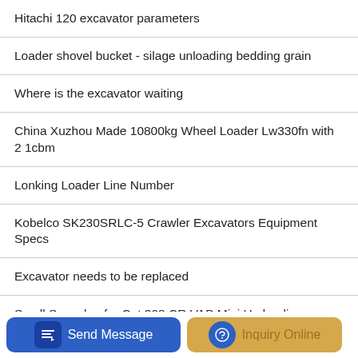Hitachi 120 excavator parameters
Loader shovel bucket - silage unloading bedding grain
Where is the excavator waiting
China Xuzhou Made 10800kg Wheel Loader Lw330fn with 2 1cbm
Lonking Loader Line Number
Kobelco SK230SRLC-5 Crawler Excavators Equipment Specs
Excavator needs to be replaced
Small Specalog for Cat 308 CR VAB Mini Hydraulic Excavators
Sany Loader Sales Recruitment